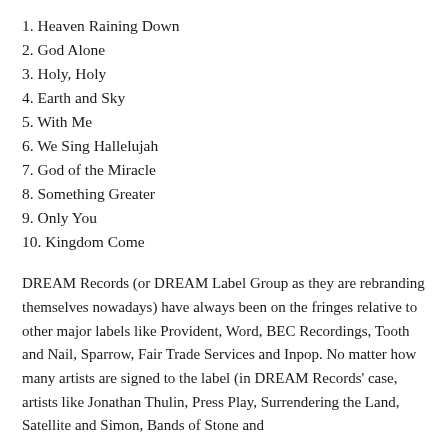1. Heaven Raining Down
2. God Alone
3. Holy, Holy
4. Earth and Sky
5. With Me
6. We Sing Hallelujah
7. God of the Miracle
8. Something Greater
9. Only You
10. Kingdom Come
DREAM Records (or DREAM Label Group as they are rebranding themselves nowadays) have always been on the fringes relative to other major labels like Provident, Word, BEC Recordings, Tooth and Nail, Sparrow, Fair Trade Services and Inpop. No matter how many artists are signed to the label (in DREAM Records' case, artists like Jonathan Thulin, Press Play, Surrendering the Land, Satellite and Simon, Bands of Stone and